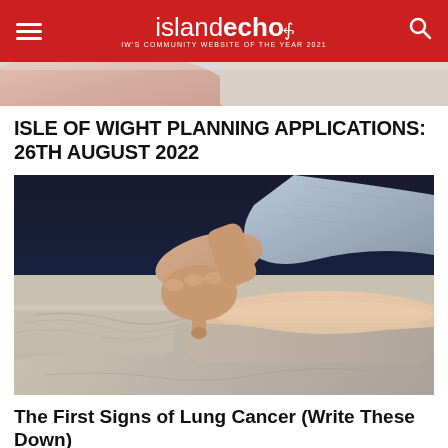islandecho — IW's COMMUNITY WEBSITE OF THE YEAR 2021
[Figure (photo): Cropped top portion of an image, showing skin tones, partially cut off at top of page]
ISLE OF WIGHT PLANNING APPLICATIONS: 26TH AUGUST 2022
[Figure (photo): A person pointing with their finger at a leg/foot resting on a medical examination table, suggesting a medical examination scene]
The First Signs of Lung Cancer (Write These Down)